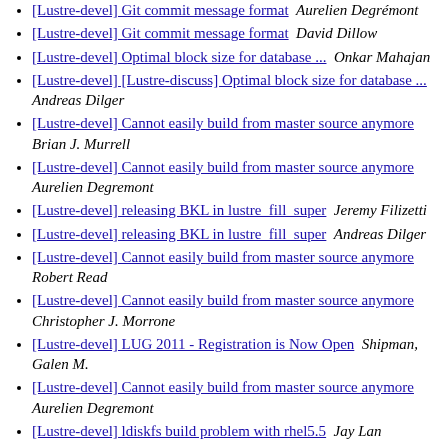[Lustre-devel] Git commit message format  Aurelien Degrémont
[Lustre-devel] Git commit message format  David Dillow
[Lustre-devel] Optimal block size for database ...  Onkar Mahajan
[Lustre-devel] [Lustre-discuss] Optimal block size for database ...  Andreas Dilger
[Lustre-devel] Cannot easily build from master source anymore  Brian J. Murrell
[Lustre-devel] Cannot easily build from master source anymore  Aurelien Degremont
[Lustre-devel] releasing BKL in lustre_fill_super  Jeremy Filizetti
[Lustre-devel] releasing BKL in lustre_fill_super  Andreas Dilger
[Lustre-devel] Cannot easily build from master source anymore  Robert Read
[Lustre-devel] Cannot easily build from master source anymore  Christopher J. Morrone
[Lustre-devel] LUG 2011 - Registration is Now Open  Shipman, Galen M.
[Lustre-devel] Cannot easily build from master source anymore  Aurelien Degremont
[Lustre-devel] ldiskfs build problem with rhel5.5  Jay Lan
[Lustre-devel] ldiskfs build problem with rhel5.5  Andreas Dilger